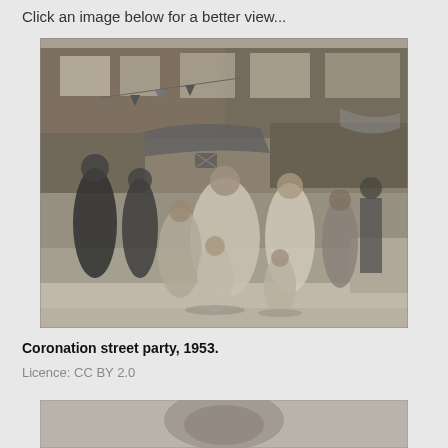Click an image below for a better view...
[Figure (photo): Black and white photograph of a Coronation street party in 1953. People, including children in fancy dress and women in large crinoline-style dresses, are gathered on a decorated street with flags and bunting on the buildings.]
Coronation street party, 1953.
Licence: CC BY 2.0
[Figure (photo): Partially visible black and white photograph at the bottom of the page, showing the top of a person's head or possibly a crowd scene.]